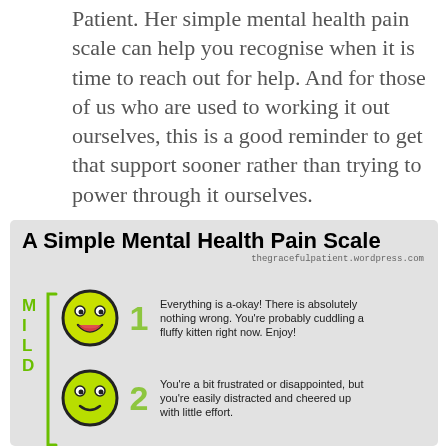Patient. Her simple mental health pain scale can help you recognise when it is time to reach out for help. And for those of us who are used to working it out ourselves, this is a good reminder to get that support sooner rather than trying to power through it ourselves.
[Figure (infographic): A Simple Mental Health Pain Scale infographic showing 3 smiley faces with labels 1, 2, 3. Level 1 (bright green happy face): Everything is a-okay! There is absolutely nothing wrong. You're probably cuddling a fluffy kitten right now. Enjoy! Level 2 (yellow-green satisfied face): You're a bit frustrated or disappointed, but you're easily distracted and cheered up with little effort. Level 3 (yellow-green slightly concerned face): Things are bothering you, but you're coping. You might be overtired or hungry. The emotional equivalent of a headache. Levels 1-3 are grouped under MILD bracket.]